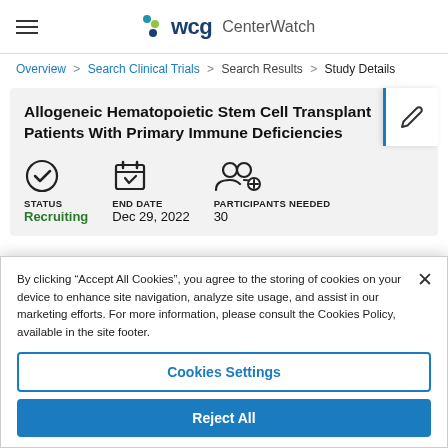WCG CenterWatch
Overview > Search Clinical Trials > Search Results > Study Details
Allogeneic Hematopoietic Stem Cell Transplant Patients With Primary Immune Deficiencies
STATUS: Recruiting | END DATE: Dec 29, 2022 | PARTICIPANTS NEEDED: 30
By clicking "Accept All Cookies", you agree to the storing of cookies on your device to enhance site navigation, analyze site usage, and assist in our marketing efforts. For more information, please consult the Cookies Policy, available in the site footer.
Cookies Settings
Reject All